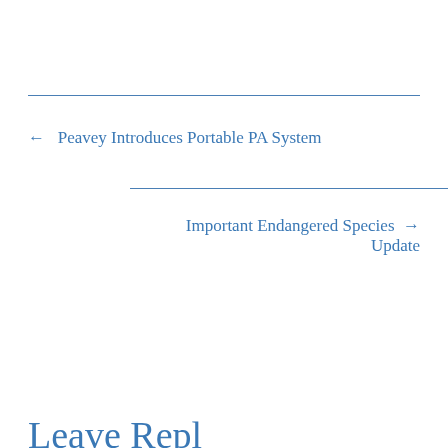← Peavey Introduces Portable PA System
Important Endangered Species → Update